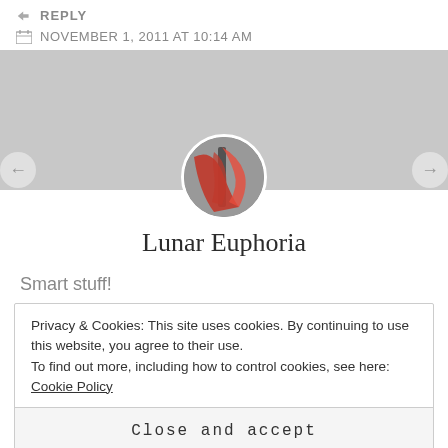↵ REPLY
NOVEMBER 1, 2011 AT 10:14 AM
[Figure (photo): Circular avatar photo of a person in a red outfit, overlapping a gray banner area]
Lunar Euphoria
Smart stuff!
Privacy & Cookies: This site uses cookies. By continuing to use this website, you agree to their use.
To find out more, including how to control cookies, see here: Cookie Policy
Close and accept